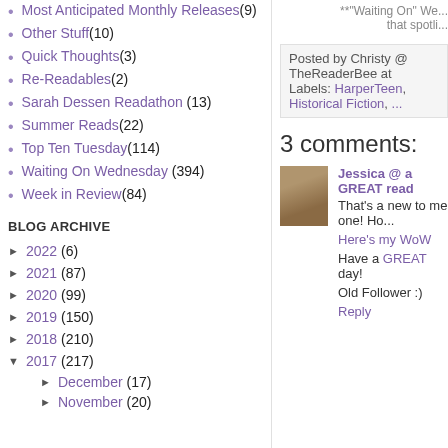Most Anticipated Monthly Releases (9)
Other Stuff (10)
Quick Thoughts (3)
Re-Readables (2)
Sarah Dessen Readathon (13)
Summer Reads (22)
Top Ten Tuesday (114)
Waiting On Wednesday (394)
Week in Review (84)
BLOG ARCHIVE
► 2022 (6)
► 2021 (87)
► 2020 (99)
► 2019 (150)
► 2018 (210)
▼ 2017 (217)
► December (17)
► November (20)
**"Waiting On" We... that spotli...
Posted by Christy @ TheReaderBee at
Labels: HarperTeen, Historical Fiction, ...
3 comments:
[Figure (photo): Avatar photo of Jessica]
Jessica @ a GREAT read
That's a new to me one! Ho...
Here's my WoW
Have a GREAT day!
Old Follower :)
Reply